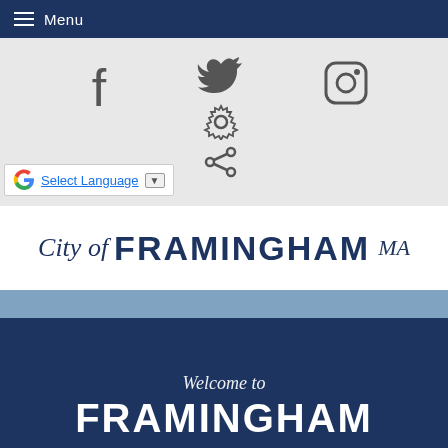Menu
[Figure (screenshot): Social media icons bar with Facebook, Twitter, Instagram icons, plus gear and share icons below Twitter. Google Translate language selector at bottom left.]
[Figure (logo): City of Framingham MA logo]
Welcome to
FRAMINGHAM